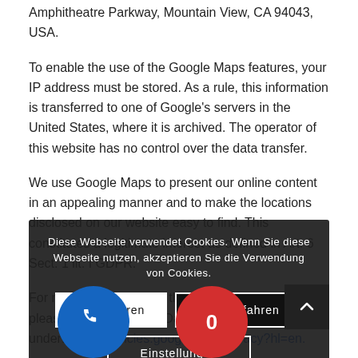Amphitheatre Parkway, Mountain View, CA 94043, USA.
To enable the use of the Google Maps features, your IP address must be stored. As a rule, this information is transferred to one of Google's servers in the United States, where it is archived. The operator of this website has no control over the data transfer.
We use Google Maps to present our online content in an appealing manner and to make the locations disclosed on our website easy to find. This constitutes a legitimate interest as defined in Art. 6 Sect. 1 lit. f GDPR.
For more information on the handling of user data, please review Google's Data Privacy Declaration under: https://policies.google.com/privacy?hl=en.
Diese Webseite verwendet Cookies. Wenn Sie diese Webseite nutzen, akzeptieren Sie die Verwendung von Cookies.